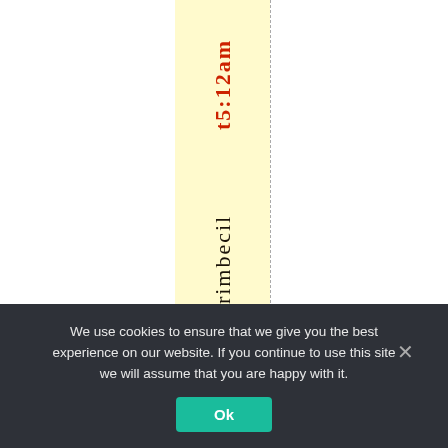[Figure (other): A webpage screenshot fragment showing a yellow-highlighted vertical column band with two sets of vertically-written text. The first text in red/dark red reads 't5:12am' and the second text in dark/black reads 'Ourimbecil'. Two dashed vertical guide lines flank the yellow band. Below is a cookie consent banner.]
We use cookies to ensure that we give you the best experience on our website. If you continue to use this site we will assume that you are happy with it.
Ok